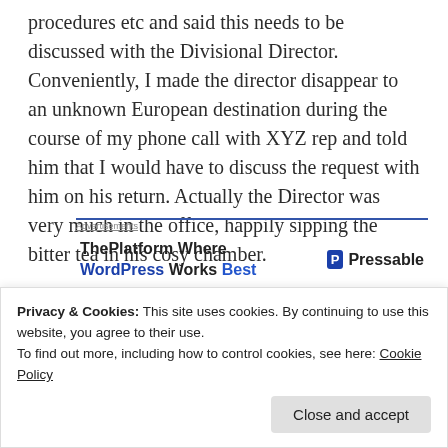procedures etc and said this needs to be discussed with the Divisional Director. Conveniently, I made the director disappear to an unknown European destination during the course of my phone call with XYZ rep and told him that I would have to discuss the request with him on his return. Actually the Director was very much in the office, happily sipping the bitter tea in his cosy chamber.
[Figure (other): Advertisement banner: ThePlatform Where WordPress Works Best — Pressable logo]
At last, the VP budged suddenly, mailing me that we can
Privacy & Cookies: This site uses cookies. By continuing to use this website, you agree to their use.
To find out more, including how to control cookies, see here: Cookie Policy
Close and accept